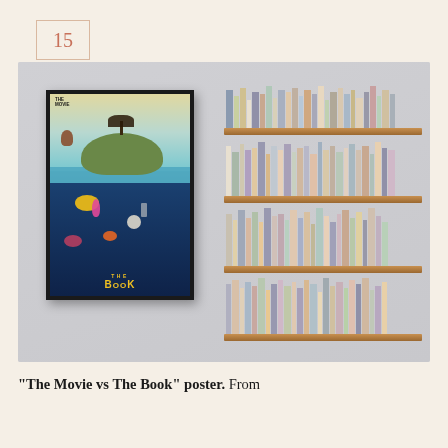15
[Figure (photo): Photo of a framed illustrated movie poster titled 'THE MOVIE vs THE BOOK' on a light gray wall, alongside a wooden bookshelf filled with many books on the right side.]
"The Movie vs The Book" poster. From